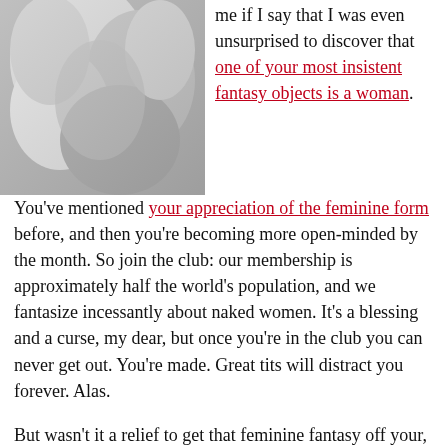[Figure (photo): Black and white close-up photo of abstract human forms]
me if I say that I was even unsurprised to discover that one of your most insistent fantasy objects is a woman. You've mentioned your appreciation of the feminine form before, and then you're becoming more open-minded by the month. So join the club: our membership is approximately half the world's population, and we fantasize incessantly about naked women. It's a blessing and a curse, my dear, but once you're in the club you can never get out. You're made. Great tits will distract you forever. Alas.

But wasn't it a relief to get that feminine fantasy off your, well, chest? I find it's sometimes a great comfort to be able to speak one's mind…. I find it even more comforting to read about you speaking your horny mind, and so I've decided to provide you with that opportunity again (for our mutual benefit, naturally). Here's the deal: your last sex confession was anonymous, but I